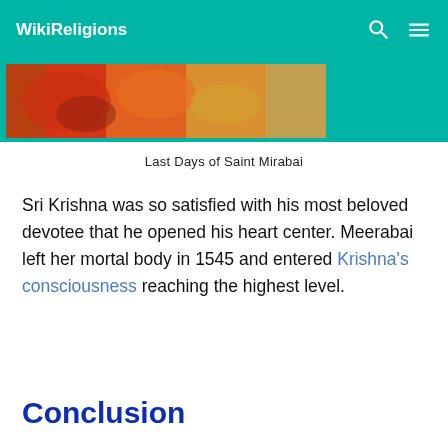WikiReligions
[Figure (photo): Partial view of a colorful painting depicting Last Days of Saint Mirabai, showing reds, yellows, and teal background]
Last Days of Saint Mirabai
Sri Krishna was so satisfied with his most beloved devotee that he opened his heart center. Meerabai left her mortal body in 1545 and entered Krishna’s consciousness reaching the highest level.
Conclusion